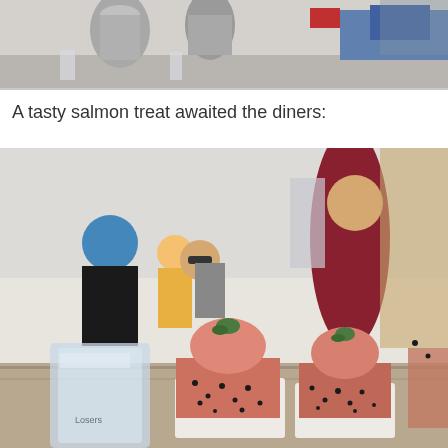[Figure (photo): Top portion of a photo showing an outdoor dining table setting with metal pitchers, glasses, and people in the background seated at tables with blue tablecloths]
A tasty salmon treat awaited the diners:
[Figure (photo): Close-up photo of two salmon hand rolls or cones wrapped in white paper/nori, with black sesame seeds and green herb garnish on top, sitting on a wooden surface. Blurred diners and outdoor restaurant setting visible in background, with a glass of water in the foreground.]